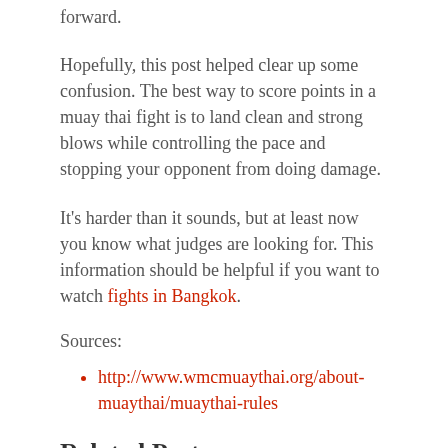forward.
Hopefully, this post helped clear up some confusion. The best way to score points in a muay thai fight is to land clean and strong blows while controlling the pace and stopping your opponent from doing damage.
It's harder than it sounds, but at least now you know what judges are looking for. This information should be helpful if you want to watch fights in Bangkok.
Sources:
http://www.wmcmuaythai.org/about-muaythai/muaythai-rules
Related Posts: